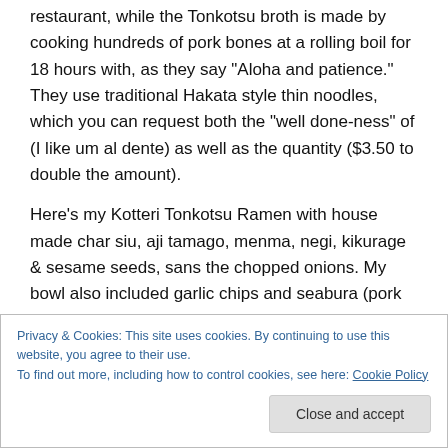restaurant, while the Tonkotsu broth is made by cooking hundreds of pork bones at a rolling boil for 18 hours with, as they say "Aloha and patience." They use traditional Hakata style thin noodles, which you can request both the "well done-ness" of (I like um al dente) as well as the quantity ($3.50 to double the amount).
Here's my Kotteri Tonkotsu Ramen with house made char siu, aji tamago, menma, negi, kikurage & sesame seeds, sans the chopped onions. My bowl also included garlic chips and seabura (pork fat). Cha-Ching!
Privacy & Cookies: This site uses cookies. By continuing to use this website, you agree to their use.
To find out more, including how to control cookies, see here: Cookie Policy